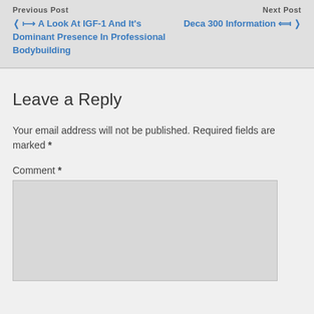Previous Post | Next Post
❮ A Look At IGF-1 And It's Dominant Presence In Professional Bodybuilding
Deca 300 Information ❯
Leave a Reply
Your email address will not be published. Required fields are marked *
Comment *